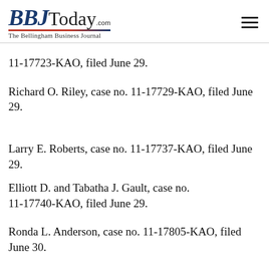BBJToday.com — The Bellingham Business Journal
11-17723-KAO, filed June 29.
Richard O. Riley, case no. 11-17729-KAO, filed June 29.
Larry E. Roberts, case no. 11-17737-KAO, filed June 29.
Elliott D. and Tabatha J. Gault, case no. 11-17740-KAO, filed June 29.
Ronda L. Anderson, case no. 11-17805-KAO, filed June 30.